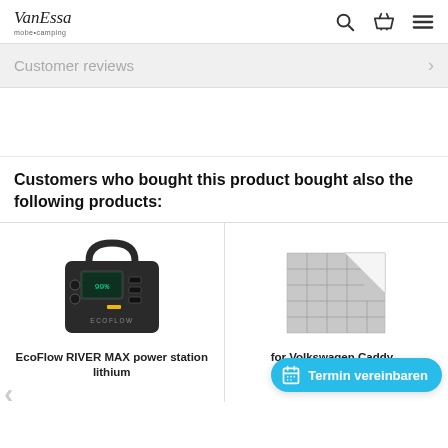VanEssa mobicamping
Customer reviews
Customers who bought this product bought also the following products:
[Figure (photo): EcoFlow RIVER MAX power station lithium battery product image]
EcoFlow RIVER MAX power station lithium
[Figure (photo): Gray quilted blanket/mat for Volkswagen Caddy - product image with Termin vereinbaren (schedule appointment) button overlay]
for Volkswagen Caddy...